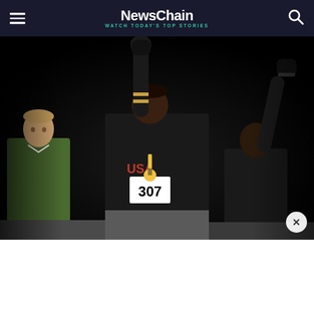NewsChain — WATCH TODAY'S TOP STORIES
[Figure (photo): Famous 1968 Olympics Black Power salute photo: three athletes on the medal podium. The center athlete (gold medalist, USA jersey, bib number 307) raises a black-gloved left fist high in the air with head bowed. The right athlete also raises a black-gloved right fist. The left athlete stands looking forward without raising a fist. Dark background.]